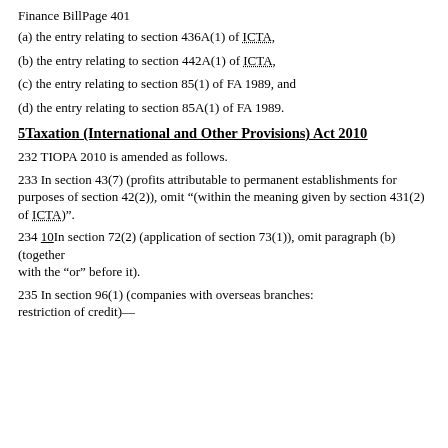Finance BillPage 401
(a) the entry relating to section 436A(1) of ICTA,
(b) the entry relating to section 442A(1) of ICTA,
(c) the entry relating to section 85(1) of FA 1989, and
(d) the entry relating to section 85A(1) of FA 1989.
5Taxation (International and Other Provisions) Act 2010
232 TIOPA 2010 is amended as follows.
233 In section 43(7) (profits attributable to permanent establishments for purposes of section 42(2)), omit “(within the meaning given by section 431(2) of ICTA)”.
234 10In section 72(2) (application of section 73(1)), omit paragraph (b) (together with the “or” before it).
235 In section 96(1) (companies with overseas branches: restriction of credit)—